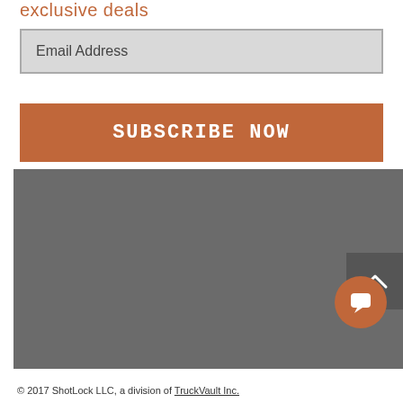exclusive deals
Email Address
SUBSCRIBE NOW
[Figure (screenshot): Gray footer section with back-to-top arrow button and orange chat bubble icon]
© 2017 ShotLock LLC, a division of TruckVault Inc.